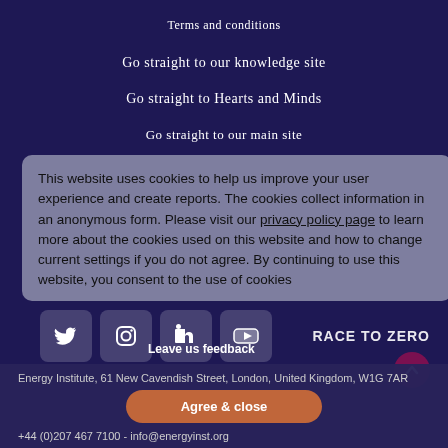Terms and conditions
Go straight to our knowledge site
Go straight to Hearts and Minds
Go straight to our main site
This website uses cookies to help us improve your user experience and create reports. The cookies collect information in an anonymous form. Please visit our privacy policy page to learn more about the cookies used on this website and how to change current settings if you do not agree. By continuing to use this website, you consent to the use of cookies
Energy Institute, 61 New Cavendish Street, London, United Kingdom, W1G 7AR
+44 (0)207 467 7100 - info@energyinst.org